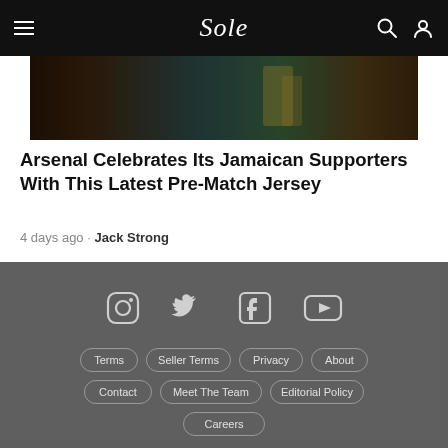Sole — navigation bar with menu, logo, search, and profile icons
[Figure (photo): Dark moody photo showing a person with musical instruments (appears to be drums/brass), partially visible]
Arsenal Celebrates Its Jamaican Supporters With This Latest Pre-Match Jersey
4 days ago · Jack Strong
[Figure (infographic): Footer section with social media icons (Instagram, Twitter, Facebook, YouTube) and navigation links (Terms, Seller Terms, Privacy, About, Contact, Meet The Team, Editorial Policy, Careers)]